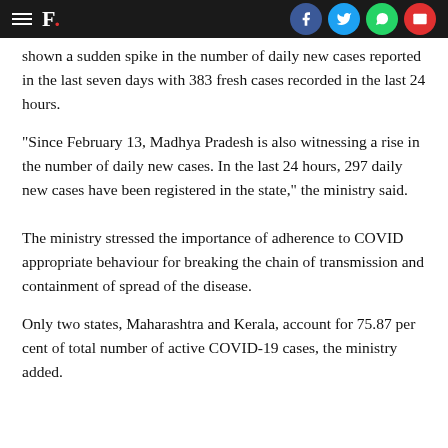F. [social icons: Facebook, Twitter, WhatsApp, Email]
shown a sudden spike in the number of daily new cases reported in the last seven days with 383 fresh cases recorded in the last 24 hours.
"Since February 13, Madhya Pradesh is also witnessing a rise in the number of daily new cases. In the last 24 hours, 297 daily new cases have been registered in the state," the ministry said.
The ministry stressed the importance of adherence to COVID appropriate behaviour for breaking the chain of transmission and containment of spread of the disease.
Only two states, Maharashtra and Kerala, account for 75.87 per cent of total number of active COVID-19 cases, the ministry added.